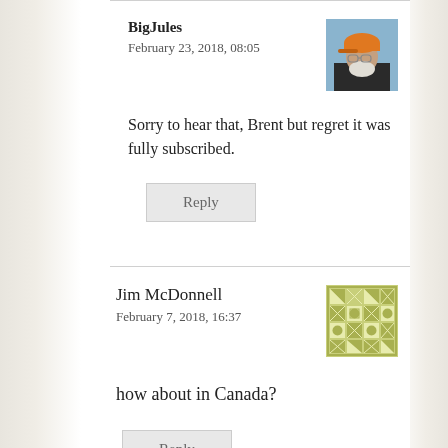BigJules
February 23, 2018, 08:05
Sorry to hear that, Brent but regret it was fully subscribed.
Reply
Jim McDonnell
February 7, 2018, 16:37
how about in Canada?
Reply